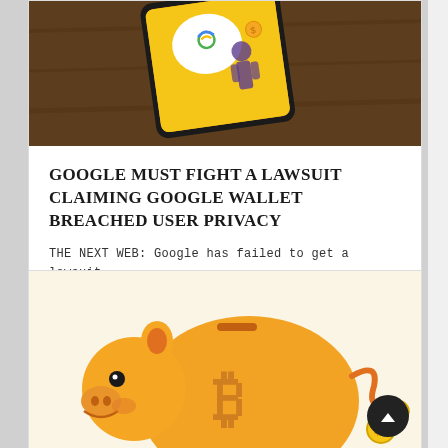[Figure (photo): Smartphone displaying Google Wallet app with payment screen on a wooden surface background]
GOOGLE MUST FIGHT A LAWSUIT CLAIMING GOOGLE WALLET BREACHED USER PRIVACY
THE NEXT WEB: Google has failed to get a lawsuit dismissed which accuses it of
FINTECH NEWS, NEWS | APRIL 3, 2015
[Figure (illustration): Orange piggy bank with Bitcoin symbol on its side, illustration on light yellow background]